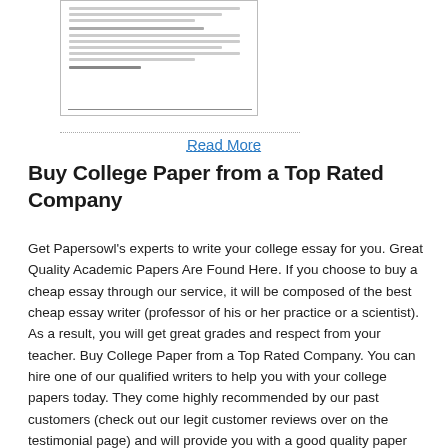[Figure (screenshot): Thumbnail image of a document page showing text lines and a horizontal line at the bottom]
Read More
Buy College Paper from a Top Rated Company
Get Papersowl's experts to write your college essay for you. Great Quality Academic Papers Are Found Here. If you choose to buy a cheap essay through our service, it will be composed of the best cheap essay writer (professor of his or her practice or a scientist). As a result, you will get great grades and respect from your teacher. Buy College Paper from a Top Rated Company. You can hire one of our qualified writers to help you with your college papers today. They come highly recommended by our past customers (check out our legit customer reviews over on the testimonial page) and will provide you with a good quality paper every time/5(52). Buy Essay Papers From Professional